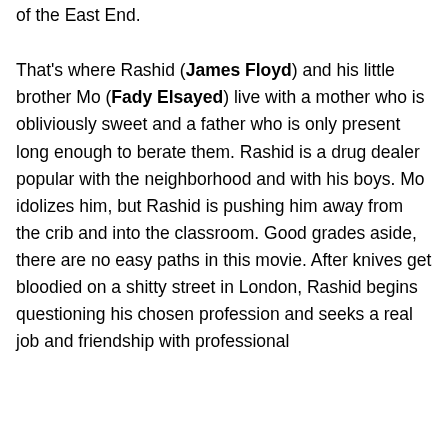of the East End.
That's where Rashid (James Floyd) and his little brother Mo (Fady Elsayed) live with a mother who is obliviously sweet and a father who is only present long enough to berate them. Rashid is a drug dealer popular with the neighborhood and with his boys. Mo idolizes him, but Rashid is pushing him away from the crib and into the classroom. Good grades aside, there are no easy paths in this movie. After knives get bloodied on a shitty street in London, Rashid begins questioning his chosen profession and seeks a real job and friendship with professional